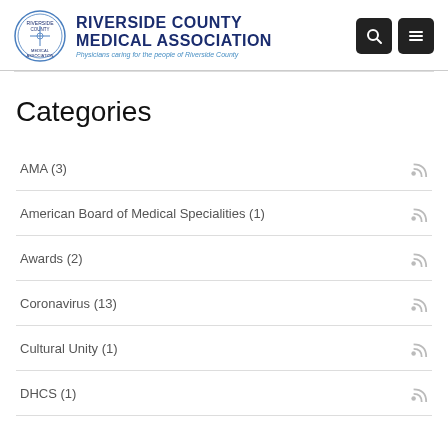RIVERSIDE COUNTY MEDICAL ASSOCIATION — Physicians caring for the people of Riverside County
Categories
AMA (3)
American Board of Medical Specialities (1)
Awards (2)
Coronavirus (13)
Cultural Unity (1)
DHCS (1)